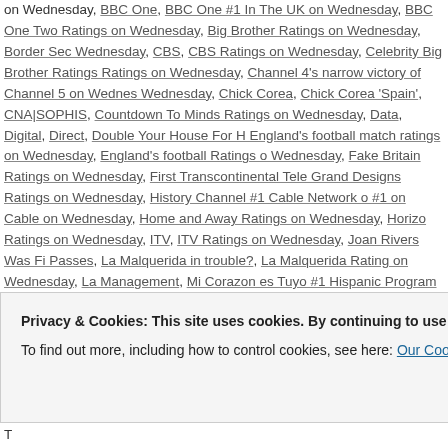on Wednesday, BBC One, BBC One #1 In The UK on Wednesday, BBC One Two Ratings on Wednesday, Big Brother Ratings on Wednesday, Border Sec Wednesday, CBS, CBS Ratings on Wednesday, Celebrity Big Brother Rating Ratings on Wednesday, Channel 4's narrow victory of Channel 5 on Wednes Wednesday, Chick Corea, Chick Corea 'Spain', CNA|SOPHIS, Countdown To Minds Ratings on Wednesday, Data, Digital, Direct, Double Your House For H England's football match ratings on Wednesday, England's football Ratings o Wednesday, Fake Britain Ratings on Wednesday, First Transcontinental Tele Grand Designs Ratings on Wednesday, History Channel #1 Cable Network o #1 on Cable on Wednesday, Home and Away Ratings on Wednesday, Horizo Ratings on Wednesday, ITV, ITV Ratings on Wednesday, Joan Rivers Was Fi Passes, La Malquerida in trouble?, La Malquerida Rating on Wednesday, La Management, Mi Corazon es Tuyo #1 Hispanic Program on Wednesday, Mi C Mobile, Modern Family Ratings on Wednesday, NBC, NBC Ratings on Wedn Thursday, Network Nine #1 in Australia on Wednesday, Network Nine News # Network Nine Ratings on Thursday, Network Nine Ratings on Wednesday, Ni Thursday, Nine News 6:30 Ratings on Wednesday, Nine News Ratings on Th Norway's football Ratings in the UK on Wednesday, Our Zoo Ratings on Wed
Privacy & Cookies: This site uses cookies. By continuing to use this website, you agree to their use. To find out more, including how to control cookies, see here: Our Cookie Policy
Ratings on Wednesday, The Gypsy Matchmaker Ratings on Wednesday, T